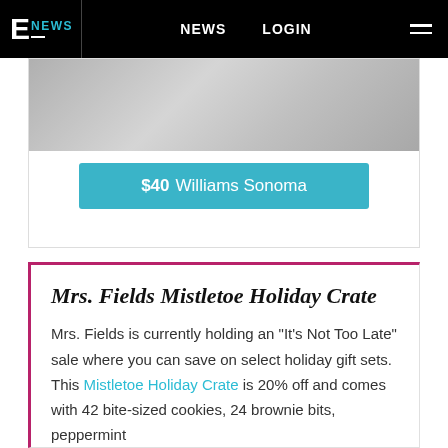E NEWS  |  NEWS  LOGIN
[Figure (screenshot): Partially visible product card with gray image and teal buy button showing '$40  Williams Sonoma']
$40  Williams Sonoma
Mrs. Fields Mistletoe Holiday Crate
Mrs. Fields is currently holding an "It's Not Too Late" sale where you can save on select holiday gift sets. This Mistletoe Holiday Crate is 20% off and comes with 42 bite-sized cookies, 24 brownie bits, peppermint